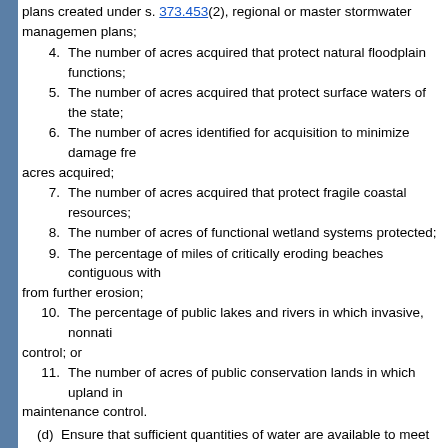plans created under s. 373.453(2), regional or master stormwater management plans;
4. The number of acres acquired that protect natural floodplain functions;
5. The number of acres acquired that protect surface waters of the state;
6. The number of acres identified for acquisition to minimize damage fr... acres acquired;
7. The number of acres acquired that protect fragile coastal resources;
8. The number of acres of functional wetland systems protected;
9. The percentage of miles of critically eroding beaches contiguous with... from further erosion;
10. The percentage of public lakes and rivers in which invasive, nonnati... control; or
11. The number of acres of public conservation lands in which upland in... maintenance control.
(d) Ensure that sufficient quantities of water are available to meet the cu... and the citizens of the state, as measured by:
1. The number of acres acquired which provide retention and storage of... areas, such as lakes and wetlands, consistent with the maintenance of water r... with district water supply plans;
2. The quantity of water made available through the water resource deve... supply plan for which a water management district is responsible; or
3. The number of acres acquired of groundwater recharge areas critical t...